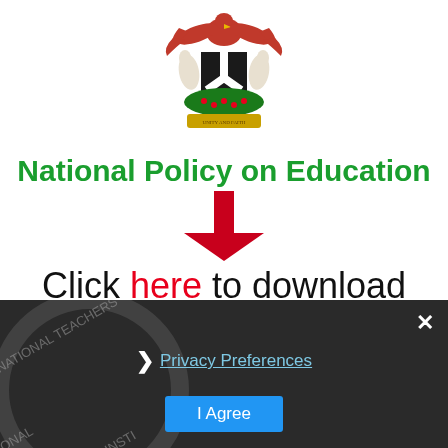[Figure (logo): Nigerian coat of arms: eagle on top, two horses flanking a black shield with white Y-shape, green base with flowers, golden banner below]
National Policy on Education
[Figure (illustration): Large red downward-pointing arrow]
Click here to download
[Figure (screenshot): Dark overlay bottom panel showing National Teachers' Institute watermark circle, a close X button, Privacy Preferences link with chevron, and I Agree button]